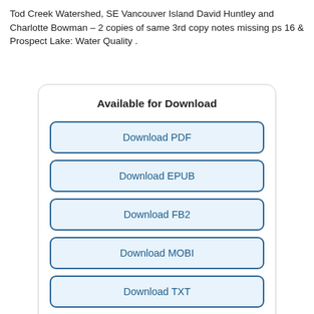Tod Creek Watershed, SE Vancouver Island David Huntley and Charlotte Bowman – 2 copies of same 3rd copy notes missing ps 16 & Prospect Lake: Water Quality .
Available for Download
Download PDF
Download EPUB
Download FB2
Download MOBI
Download TXT
Share this book
[Figure (other): Social share icons: Facebook, Twitter, Pinterest, and a send/share icon]